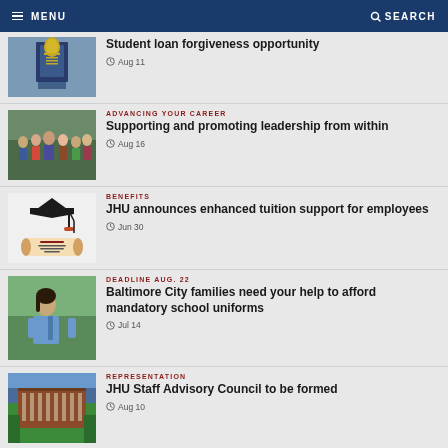MENU   SEARCH
Student loan forgiveness opportunity
Aug 11
ADVANCING YOUR CAREER
Supporting and promoting leadership from within
Aug 16
BENEFITS
JHU announces enhanced tuition support for employees
Jun 30
DEADLINE AUG. 22
Baltimore City families need your help to afford mandatory school uniforms
Jul 14
REPRESENTATION
JHU Staff Advisory Council to be formed
Aug 10